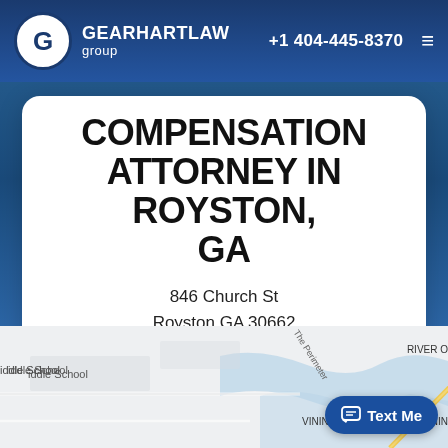GEARHART LAW group | +1 404-445-8370
COMPENSATION ATTORNEY IN ROYSTON, GA
846 Church St
Royston GA 30662
(404) 445 8370
DRIVING DIRECTIONS
[Figure (map): Street map showing area around 846 Church St, Royston GA 30662, with labels including Middle School, The Perimeter, VININGS VIEW, RIVER O, OF VININ, Chattahoochee]